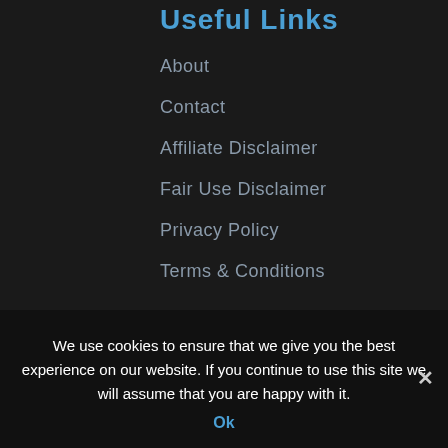Useful Links
About
Contact
Affiliate Disclaimer
Fair Use Disclaimer
Privacy Policy
Terms & Conditions
Archives
We use cookies to ensure that we give you the best experience on our website. If you continue to use this site we will assume that you are happy with it.
Ok